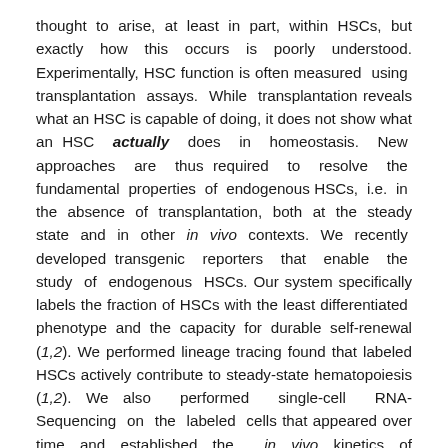thought to arise, at least in part, within HSCs, but exactly how this occurs is poorly understood. Experimentally, HSC function is often measured using transplantation assays. While transplantation reveals what an HSC is capable of doing, it does not show what an HSC actually does in homeostasis. New approaches are thus required to resolve the fundamental properties of endogenous HSCs, i.e. in the absence of transplantation, both at the steady state and in other in vivo contexts. We recently developed transgenic reporters that enable the study of endogenous HSCs. Our system specifically labels the fraction of HSCs with the least differentiated phenotype and the capacity for durable self-renewal (1,2). We performed lineage tracing found that labeled HSCs actively contribute to steady-state hematopoiesis (1,2). We also performed single-cell RNA-Sequencing on the labeled cells that appeared over time and established the in vivo kinetics of differentiation to different hematopoietic lineages. In addition to defining the function of HSCs in the steady state, we have begun to use our system to define the impact of age on endogenous HSC function. Furthermore, building upon this transgenic system, we have established a novel model that allows inducible oncogene